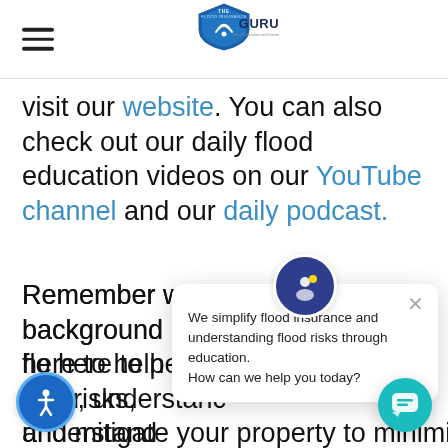The Flood Insurance Guru - Flood Education and Insurance
visit our website. You can also check out our daily flood education videos on our YouTube channel and our daily podcast.
Remember we [background in flo...] here to help you [risks, understand...] and mitigate your property to minimize flood losses and flood premiums.
[Figure (screenshot): Chat widget overlay showing message: We simplify flood insurance and understanding flood risks through education. How can we help you today?]